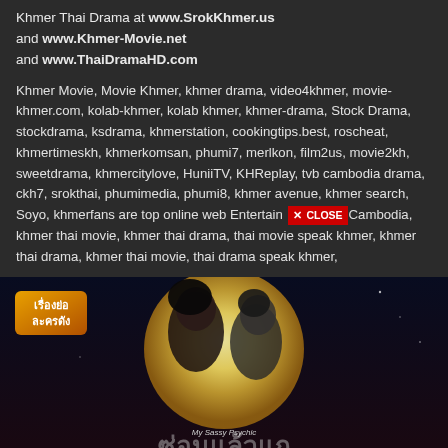Khmer Thai Drama at www.SrokKhmer.us and www.Khmer-Movie.net and www.ThaiDramaHD.com
Khmer Movie, Movie Khmer, khmer drama, video4khmer, movie-khmer.com, kolab-khmer, kolab khmer, khmer-drama, Stock Drama, stockdrama, ksdrama, khmerstation, cookingtips.best, roscheat, khmertimeskh, khmerkomsan, phumi7, merlkon, film2us, movie2kh, sweetdrama, khmercitylove, HuniiTV, KHReplay, tvb cambodia drama, ckh7, srokthai, phumimedia, phumi8, khmer avenue, khmer search, Soyo, khmerfans are top online web Entertain [X CLOSE] Cambodia, khmer thai movie, khmer thai drama, thai movie speak khmer, khmer thai drama, khmer thai movie, thai drama speak khmer,
[Figure (photo): Thai drama promotional image showing a couple about to kiss in front of a large full moon against a dark night sky. A Thai-language badge in the top-left reads 'เรื่องย่อ ละครดัง'. Text at the bottom reads 'My Sassy Psychic' in small letters with large Thai script title below.]